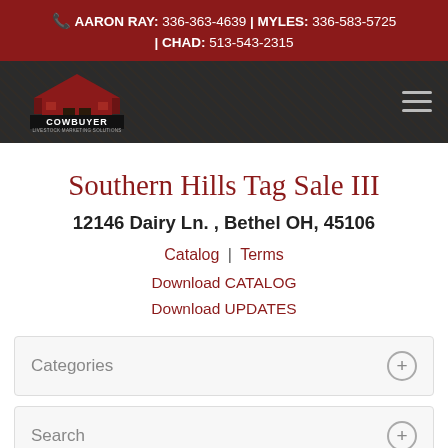AARON RAY: 336-363-4639 | MYLES: 336-583-5725 | CHAD: 513-543-2315
[Figure (logo): Cowbuyer livestock marketing solutions logo with barn graphic]
Southern Hills Tag Sale III
12146 Dairy Ln. , Bethel OH, 45106
Catalog | Terms
Download CATALOG
Download UPDATES
Categories
Search